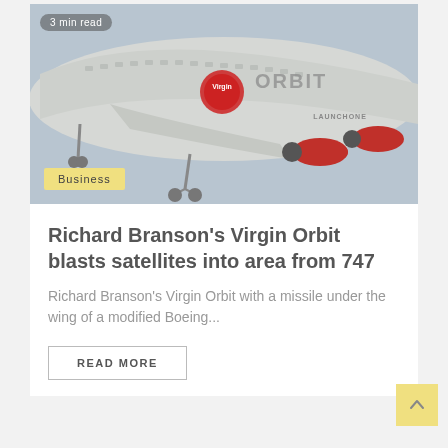[Figure (photo): Virgin Orbit Boeing 747 aircraft called LaunchOne carrying a rocket under its wing, photographed from below against a pale sky. The fuselage shows the Virgin Orbit logo with a red circle and the text ORBIT in large letters. Red engine housings visible on the right side.]
Business
Richard Branson's Virgin Orbit blasts satellites into area from 747
Richard Branson's Virgin Orbit with a missile under the wing of a modified Boeing...
READ MORE